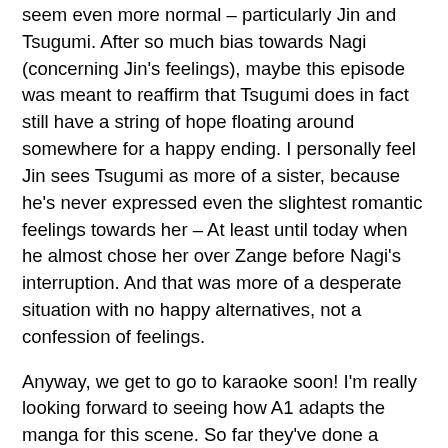seem even more normal – particularly Jin and Tsugumi. After so much bias towards Nagi (concerning Jin's feelings), maybe this episode was meant to reaffirm that Tsugumi does in fact still have a string of hope floating around somewhere for a happy ending. I personally feel Jin sees Tsugumi as more of a sister, because he's never expressed even the slightest romantic feelings towards her – At least until today when he almost chose her over Zange before Nagi's interruption. And that was more of a desperate situation with no happy alternatives, not a confession of feelings.
Anyway, we get to go to karaoke soon! I'm really looking forward to seeing how A1 adapts the manga for this scene. So far they've done a ridiculously fantastic job at adapting the manga above and beyond what would be plain yet acceptable, so I'm sure next week's episode will be hysterical.
Summary incoming soon….